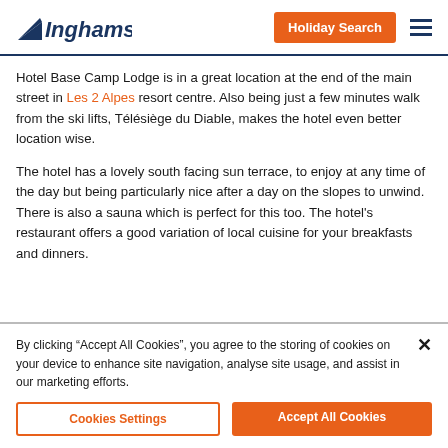Inghams | Holiday Search
Hotel Base Camp Lodge is in a great location at the end of the main street in Les 2 Alpes resort centre. Also being just a few minutes walk from the ski lifts, Télésiège du Diable, makes the hotel even better location wise.
The hotel has a lovely south facing sun terrace, to enjoy at any time of the day but being particularly nice after a day on the slopes to unwind. There is also a sauna which is perfect for this too. The hotel's restaurant offers a good variation of local cuisine for your breakfasts and dinners.
By clicking "Accept All Cookies", you agree to the storing of cookies on your device to enhance site navigation, analyse site usage, and assist in our marketing efforts.
Cookies Settings | Accept All Cookies